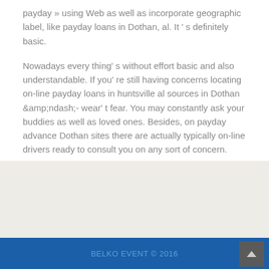payday » using Web as well as incorporate geographic label, like payday loans in Dothan, al. It ' s definitely basic.
Nowadays every thing' s without effort basic and also understandable. If you' re still having concerns locating on-line payday loans in huntsville al sources in Dothan &amp;amp;ndash;- wear' t fear. You may constantly ask your buddies as well as loved ones. Besides, on payday advance Dothan sites there are actually typically on-line drivers ready to consult you on any sort of concern.
BELKO EVENT © 2016